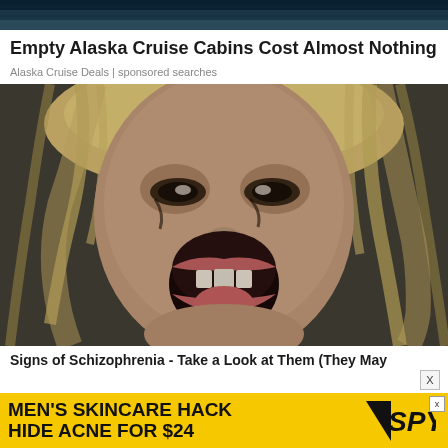[Figure (photo): Dark ocean/water scene at the top of the page]
Empty Alaska Cruise Cabins Cost Almost Nothing
Alaska Cruise Deals | sponsored searches
[Figure (photo): Close-up photo of a blonde woman screaming with mouth wide open, looking distressed]
Signs of Schizophrenia - Take a Look at Them (They May
[Figure (screenshot): Advertisement banner: MEN'S SKINCARE HACK HIDE ACNE FOR $24 with SPY logo on yellow background]